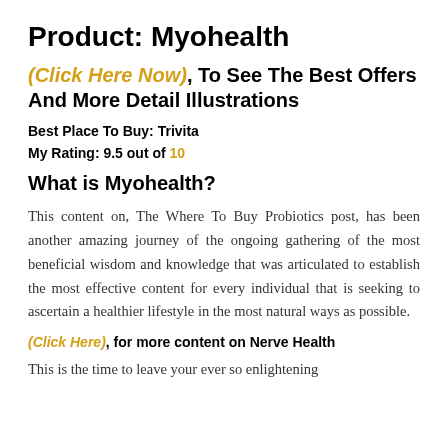Product: Myohealth
(Click Here Now), To See The Best Offers And More Detail Illustrations
Best Place To Buy: Trivita
My Rating: 9.5 out of 10
What is Myohealth?
This content on, The Where To Buy Probiotics post, has been another amazing journey of the ongoing gathering of the most beneficial wisdom and knowledge that was articulated to establish the most effective content for every individual that is seeking to ascertain a healthier lifestyle in the most natural ways as possible.
(Click Here), for more content on Nerve Health
This is the time to leave your ever so enlightening